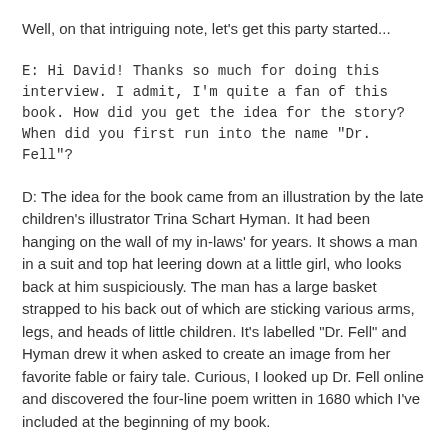Well, on that intriguing note, let's get this party started...
E: Hi David! Thanks so much for doing this interview. I admit, I'm quite a fan of this book. How did you get the idea for the story? When did you first run into the name "Dr. Fell"?
D: The idea for the book came from an illustration by the late children's illustrator Trina Schart Hyman. It had been hanging on the wall of my in-laws' for years. It shows a man in a suit and top hat leering down at a little girl, who looks back at him suspiciously. The man has a large basket strapped to his back out of which are sticking various arms, legs, and heads of little children. It's labelled "Dr. Fell" and Hyman drew it when asked to create an image from her favorite fable or fairy tale. Curious, I looked up Dr. Fell online and discovered the four-line poem written in 1680 which I've included at the beginning of my book.
Right away all sorts of questions jumped into my head. Who